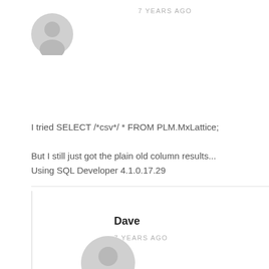7 YEARS AGO
[Figure (illustration): Generic user avatar circle icon, gray]
I tried SELECT /*csv*/ * FROM PLM.MxLattice;
But I still just got the plain old column results...
Using SQL Developer 4.1.0.17.29
Dave
7 YEARS AGO
[Figure (illustration): Generic user avatar circle icon, gray, smaller]